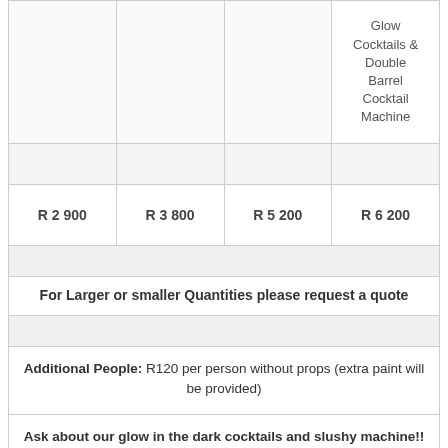|  |  |  | Glow Cocktails & Double Barrel Cocktail Machine |
| --- | --- | --- | --- |
|  |  |  |  |
| R 2 900 | R 3 800 | R 5 200 | R 6 200 |
For Larger or smaller Quantities please request a quote
Additional People: R120 per person without props (extra paint will be provided)
Ask about our glow in the dark cocktails and slushy machine!! Not only does the drink glow but it makes people's mouths and tongues and lips glow when they drink it! We also added some B vitamins to keep the party people up and about.